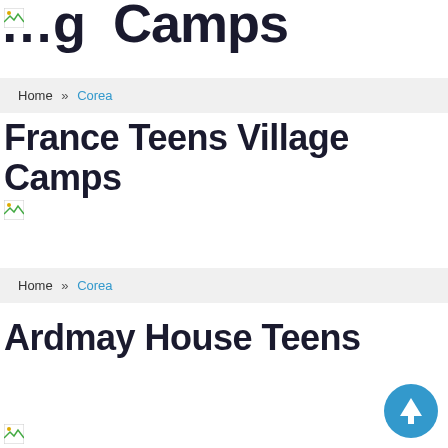…g…p
[Figure (other): Broken image placeholder top 1]
Home » Corea
France Teens Village Camps
[Figure (other): Broken image placeholder middle]
Home » Corea
Ardmay House Teens
[Figure (other): Broken image placeholder bottom]
[Figure (other): Scroll to top circular button with upward arrow]